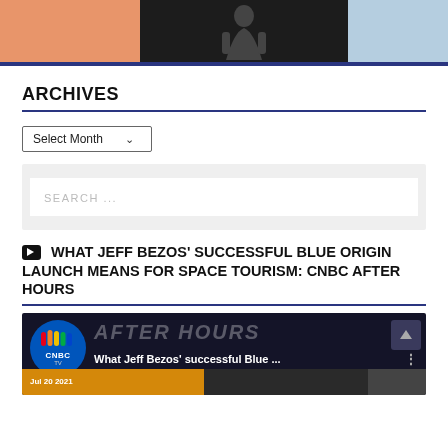[Figure (illustration): Top banner with three panels: orange left, dark center with silhouette figure, light blue right]
ARCHIVES
Select Month
SEARCH ...
WHAT JEFF BEZOS' SUCCESSFUL BLUE ORIGIN LAUNCH MEANS FOR SPACE TOURISM: CNBC AFTER HOURS
[Figure (screenshot): CNBC After Hours video thumbnail showing 'What Jeff Bezos successful Blue ...' with CNBC TV logo and After Hours branding]